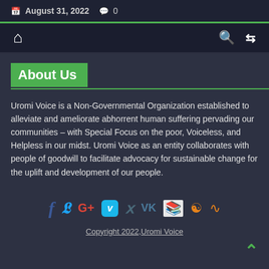August 31, 2022  0
[Figure (other): Navigation bar with home icon, search icon, and shuffle icon on dark background]
About Us
Uromi Voice is a Non-Governmental Organization established to alleviate and ameliorate abhorrent human suffering pervading our communities – with Special Focus on the poor, Voiceless, and Helpless in our midst. Uromi Voice as an entity collaborates with people of goodwill to facilitate advocacy for sustainable change for the uplift and development of our people.
[Figure (other): Social media icons row: Facebook, Twitter, Google+, Vimeo, Xing, VK, Open Library, Raindrop, RSS]
Copyright 2022,Uromi Voice